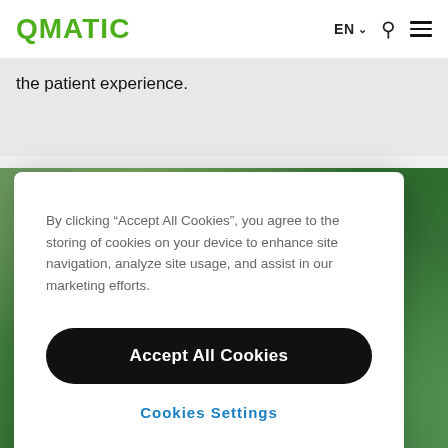QMATIC  EN  [search] [menu]
the patient experience.
[Figure (photo): Green-toned background photo, partially visible behind the cookie consent modal.]
By clicking “Accept All Cookies”, you agree to the storing of cookies on your device to enhance site navigation, analyze site usage, and assist in our marketing efforts.
Accept All Cookies
Cookies Settings